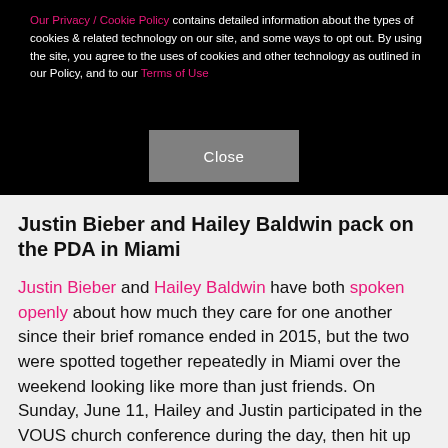Our Privacy / Cookie Policy contains detailed information about the types of cookies & related technology on our site, and some ways to opt out. By using the site, you agree to the uses of cookies and other technology as outlined in our Policy, and to our Terms of Use
Close
Justin Bieber and Hailey Baldwin pack on the PDA in Miami
Justin Bieber and Hailey Baldwin have both spoken openly about how much they care for one another since their brief romance ended in 2015, but the two were spotted together repeatedly in Miami over the weekend looking like more than just friends. On Sunday, June 11, Hailey and Justin participated in the VOUS church conference during the day, then hit up Casa Tua for dinner, according to TMZ. Afterwards, they headed to LIV Nightclub at Fontainebleau around 1 a.m. After